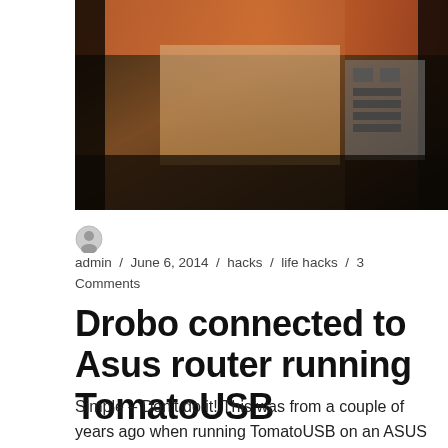[Figure (photo): A photograph showing a dark interior scene, likely a room with a mirror reflecting some reddish/orange tones at the top and a device or electronic equipment visible on the right side.]
admin / June 6, 2014 / hacks / life hacks / 3 Comments
Drobo connected to Asus router running TomatoUSB
Simple – Don't do it! This was from a couple of years ago when running TomatoUSB on an ASUS RT-N16 router. DD-WRT had issues